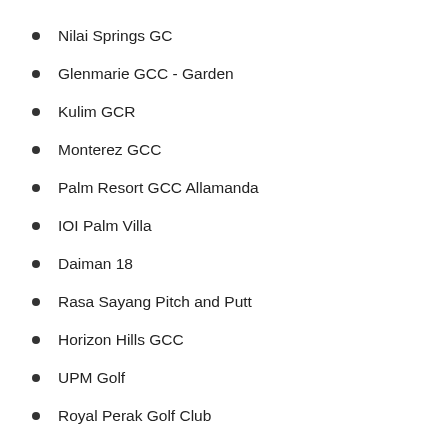Nilai Springs GC
Glenmarie GCC - Garden
Kulim GCR
Monterez GCC
Palm Resort GCC Allamanda
IOI Palm Villa
Daiman 18
Rasa Sayang Pitch and Putt
Horizon Hills GCC
UPM Golf
Royal Perak Golf Club
Cameron Highlands Golf Course